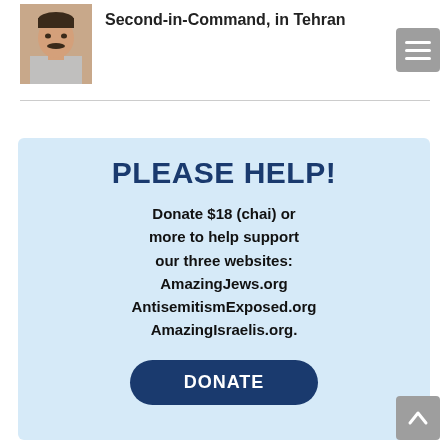[Figure (photo): Small portrait photo of a man with a mustache]
Second-in-Command, in Tehran
PLEASE HELP!
Donate $18 (chai) or more to help support our three websites: AmazingJews.org AntisemitismExposed.org AmazingIsraelis.org.
DONATE